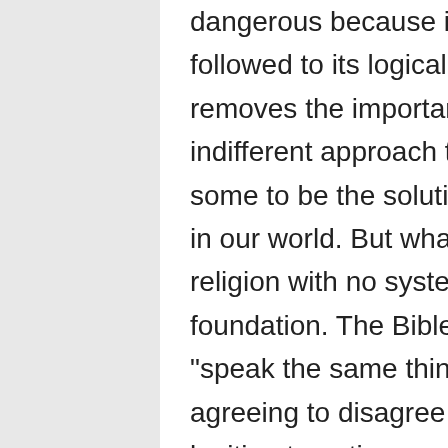dangerous because it has no end. When followed to its logical conclusion it completely removes the importance of biblical truth. This indifferent approach to the Bible is claimed by some to be the solution to the religious division in our world. But what it actually creates is a religion with no system of belief and no doctrinal foundation. The Bible teaches that we should all "speak the same thing" (1 Corinthians 1:10), so agreeing to disagree on doctrine is not a legitimate option.

What we believe and teach is not insignificant or unimportant, it is essential! In matters of the Bible's teaching we must not have an "agree to disagree" approach because there is too much at stake.